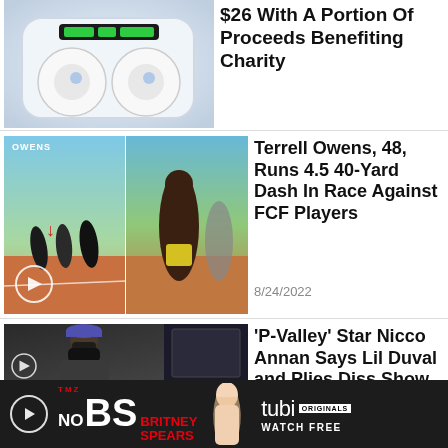[Figure (photo): Partial top article showing wireless earbuds in charging case]
$26 With A Portion Of Proceeds Benefiting Charity
[Figure (photo): Terrell Owens running on a track (split image), labeled OWENS with red arrow]
Terrell Owens, 48, Runs 4.5 40-Yard Dash In Race Against FCF Players
8/24/2022
[Figure (photo): Person wearing mask and cap outdoors, candid photo]
'P-Valley' Star Nicco Annan Says Lil Duval and Plies Diss Show for Clickbait
[Figure (other): TMZ No BS Britney Spears advertisement banner with Tubi Originals - Watch Free]